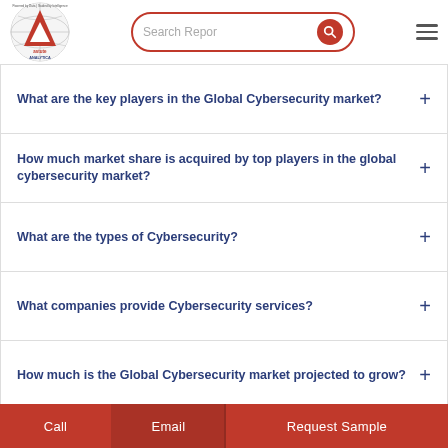Astute Analytica - Search Reports
What are the key players in the Global Cybersecurity market?
How much market share is acquired by top players in the global cybersecurity market?
What are the types of Cybersecurity?
What companies provide Cybersecurity services?
How much is the Global Cybersecurity market projected to grow?
Call | Email | Request Sample